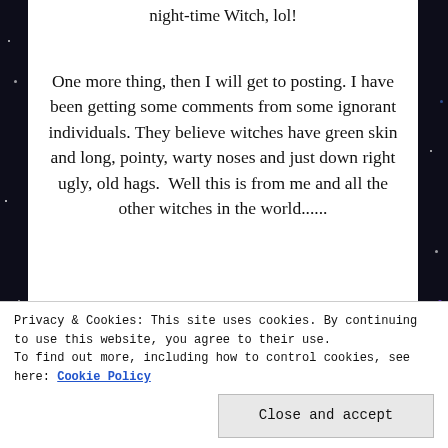night-time Witch, lol!
One more thing, then I will get to posting. I have been getting some comments from some ignorant individuals. They believe witches have green skin and long, pointy, warty noses and just down right ugly, old hags.  Well this is from me and all the other witches in the world......
[Figure (screenshot): Advertisement banner with WordPress VID logo on left white section and orange/pink gradient on right with 'Learn more →' button]
Privacy & Cookies: This site uses cookies. By continuing to use this website, you agree to their use.
To find out more, including how to control cookies, see here: Cookie Policy
Close and accept